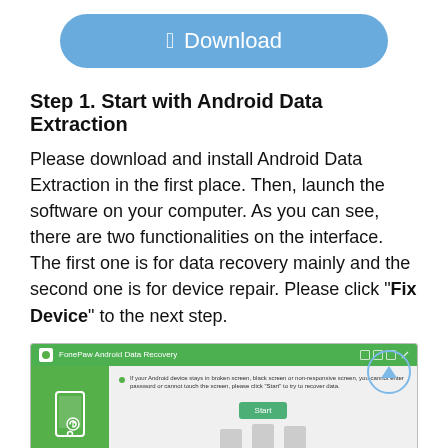[Figure (other): Blue rounded Download button with Apple logo icon]
Step 1. Start with Android Data Extraction
Please download and install Android Data Extraction in the first place. Then, launch the software on your computer. As you can see, there are two functionalities on the interface. The first one is for data recovery mainly and the second one is for device repair. Please click "Fix Device" to the next step.
[Figure (screenshot): FonePaw Android Data Recovery software screenshot showing Fix Device interface with a Start button and phone illustrations]